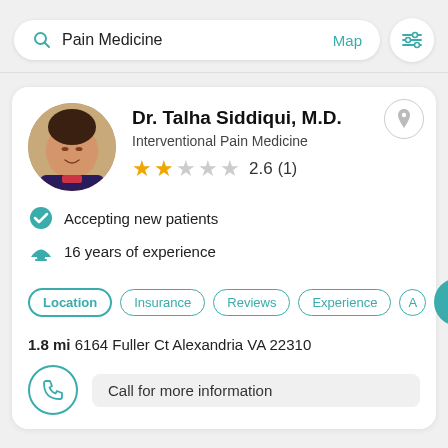[Figure (screenshot): Search bar with 'Pain Medicine' text, Map link, and filter icon]
[Figure (screenshot): Doctor profile card for Dr. Talha Siddiqui, M.D., Interventional Pain Medicine, rating 2.6 (1), accepting new patients, 16 years of experience, location 1.8 mi 6164 Fuller Ct Alexandria VA 22310, Call for more information]
Pain Medicine
Map
Dr. Talha Siddiqui, M.D.
Interventional Pain Medicine
2.6  (1)
Accepting new patients
16 years of experience
Location
Insurance
Reviews
Experience
1.8 mi 6164 Fuller Ct Alexandria VA 22310
Call for more information